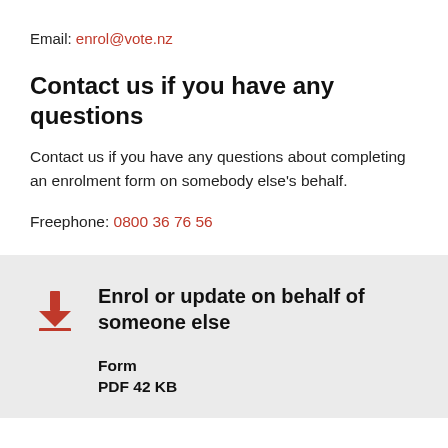Email: enrol@vote.nz
Contact us if you have any questions
Contact us if you have any questions about completing an enrolment form on somebody else's behalf.
Freephone: 0800 36 76 56
Enrol or update on behalf of someone else
Form
PDF 42 KB